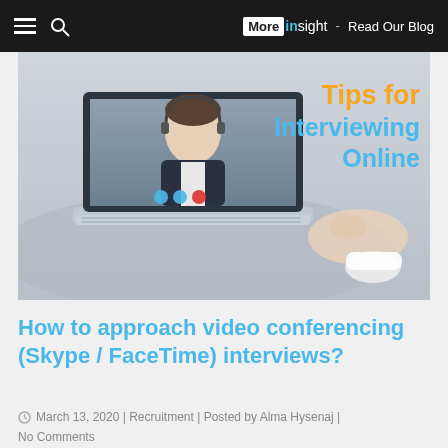More insight - Read Our Blog
[Figure (photo): Person in business attire visible on laptop screen during video conference call, with keyboard and hand visible in foreground. Overlaid text reads 'Tips for Interviewing Online']
How to approach video conferencing (Skype / FaceTime) interviews?
March 13, 2020 | Recruitment | Posted by Alma Hysenaj | No Comments